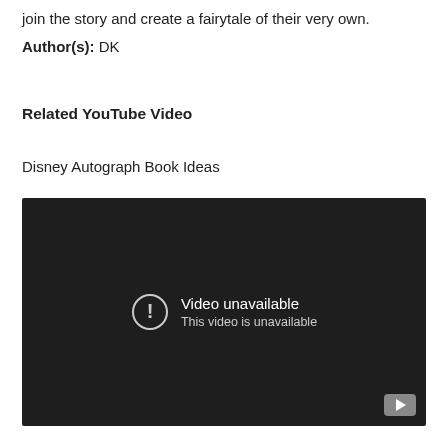join the story and create a fairytale of their very own.
Author(s): DK
Related YouTube Video
Disney Autograph Book Ideas
[Figure (screenshot): Embedded YouTube video player showing 'Video unavailable. This video is unavailable.' message on a dark background with a play button in the bottom right corner.]